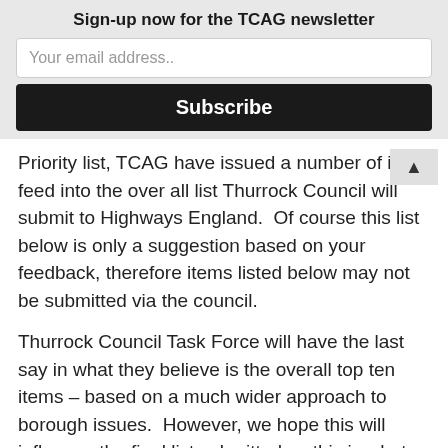Sign-up now for the TCAG newsletter
Your email address..
Subscribe
Priority list, TCAG have issued a number of item feed into the over all list Thurrock Council will submit to Highways England.  Of course this list below is only a suggestion based on your feedback, therefore items listed below may not be submitted via the council.
Thurrock Council Task Force will have the last say in what they believe is the overall top ten items – based on a much wider approach to borough issues.  However, we hope this will influence the final list submitted as this is what matters to us the most.